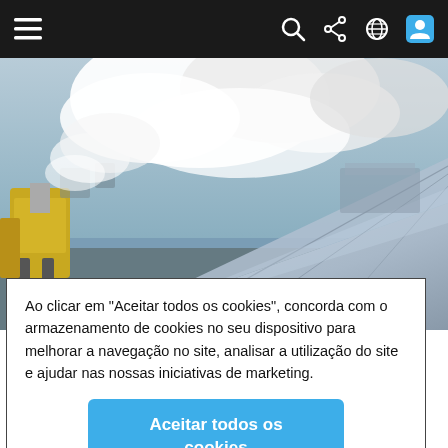[Figure (photo): Airplane wing being de-iced on tarmac, steam/vapor visible, yellow ground equipment on the left, cloudy sky]
Ao clicar em "Aceitar todos os cookies", concorda com o armazenamento de cookies no seu dispositivo para melhorar a navegação no site, analisar a utilização do site e ajudar nas nossas iniciativas de marketing.
Aceitar todos os cookies
Definições de cookies